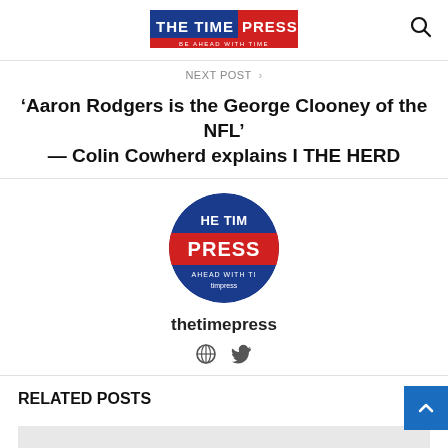THE TIME PRESS — BE AHEAD WITH TIME
NEXT POST >
'Aaron Rodgers is the George Clooney of the NFL' — Colin Cowherd explains I THE HERD
[Figure (logo): The Time Press circular logo with blue top half reading 'HE TIME', red middle band reading 'PRESS', and bottom text 'AHEAD WITH TIME' and 'timepress']
thetimepress
RELATED POSTS